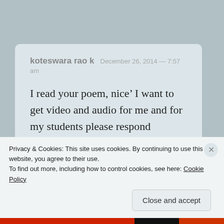koteswara rao k   December 26, 2014 — 7:57 am
I read your poem, nice’ I want to get video and audio for me and for my students please respond
★ Like
Privacy & Cookies: This site uses cookies. By continuing to use this website, you agree to their use.
To find out more, including how to control cookies, see here: Cookie Policy
Close and accept